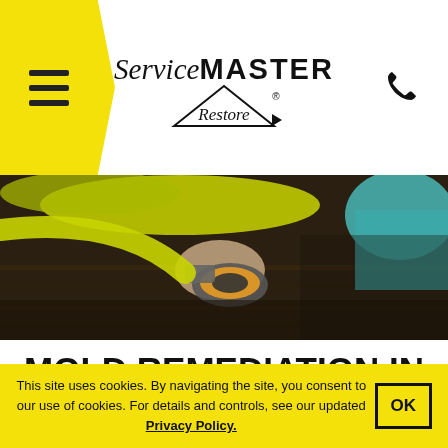ServiceMASTER Restore
[Figure (photo): Person handling equipment with yellow hose on a wooden floor during water damage restoration]
MOLD REMEDIATION IN HENDERSON, NV 89052
For mold removal services in Henderson, NV contact ServiceMaster EMT at (702) 842-2262
This site uses cookies. By navigating the site, you consent to our use of cookies. For details and controls, see our updated Privacy Policy.